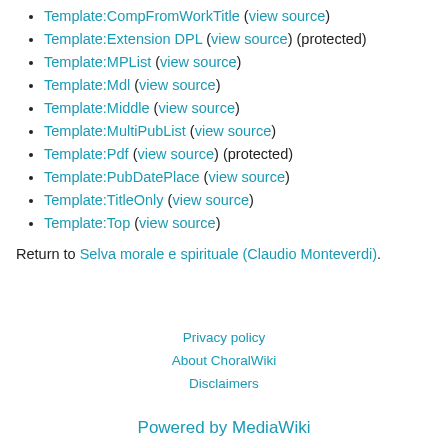Template:CompFromWorkTitle (view source)
Template:Extension DPL (view source) (protected)
Template:MPList (view source)
Template:Mdl (view source)
Template:Middle (view source)
Template:MultiPubList (view source)
Template:Pdf (view source) (protected)
Template:PubDatePlace (view source)
Template:TitleOnly (view source)
Template:Top (view source)
Return to Selva morale e spirituale (Claudio Monteverdi).
Privacy policy
About ChoralWiki
Disclaimers
Powered by MediaWiki